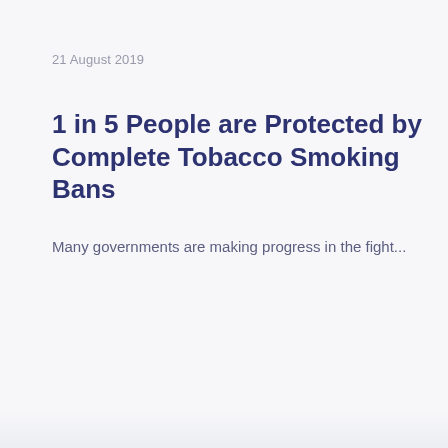21 August 2019
1 in 5 People are Protected by Complete Tobacco Smoking Bans
Many governments are making progress in the fight...